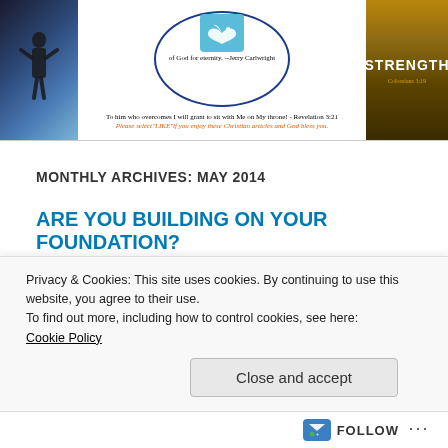[Figure (illustration): Website header banner with a silhouette of a person with raised arms on a blue background, a circular quote border with text 'of God for eternity. --Jerry Carlwright', a blue dove icon, a Bible verse 'To him who overcomes I will grant to sit with Me on My throne! - Revelation 3:21', a red italic text 'Please select LIKE if you enjoy these Christian articles and God bless you.', and a book cover showing 'STRENGTH' on a dark gold background]
MONTHLY ARCHIVES: MAY 2014
ARE YOU BUILDING ON YOUR FOUNDATION?
[Figure (photo): A hand holding a large white mug against a blue sky background]
Once we were non believers and didn't
Privacy & Cookies: This site uses cookies. By continuing to use this website, you agree to their use.
To find out more, including how to control cookies, see here:
Cookie Policy
Close and accept